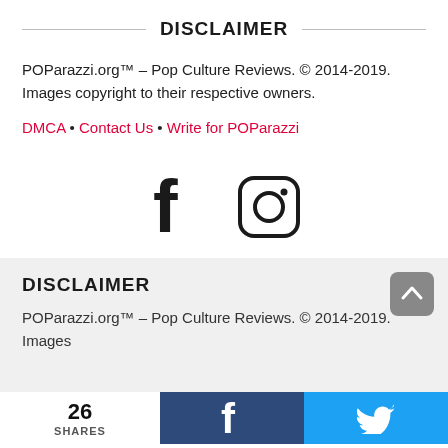DISCLAIMER
POParazzi.org™ – Pop Culture Reviews. © 2014-2019. Images copyright to their respective owners.
DMCA • Contact Us • Write for POParazzi
[Figure (illustration): Facebook and Instagram social media icons]
DISCLAIMER
POParazzi.org™ – Pop Culture Reviews. © 2014-2019. Images
26 SHARES  [Facebook share button]  [Twitter share button]